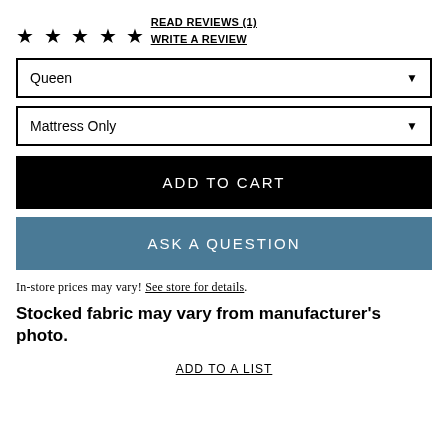★ ★ ★ ★ ★
READ REVIEWS (1)
WRITE A REVIEW
Queen (dropdown)
Mattress Only (dropdown)
ADD TO CART
ASK A QUESTION
In-store prices may vary! See store for details.
Stocked fabric may vary from manufacturer's photo.
ADD TO A LIST